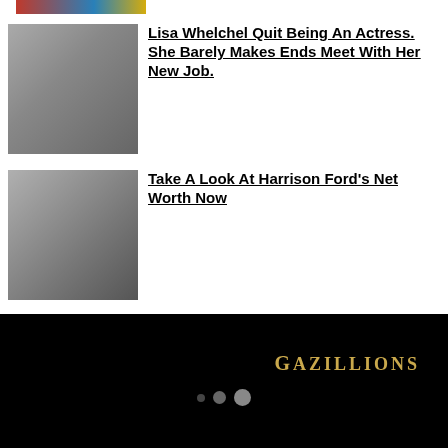[Figure (photo): Partial image at top, appears to be a news/political banner with red and blue coloring]
Lisa Whelchel Quit Being An Actress. She Barely Makes Ends Meet With Her New Job.
Take A Look At Harrison Ford's Net Worth Now
[Figure (logo): Gazillions website logo in gold serif text on black background with navigation dots]